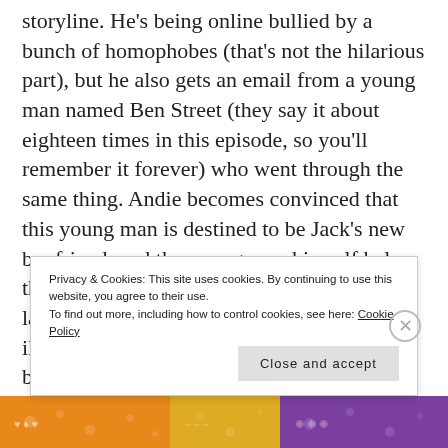storyline. He's being online bullied by a bunch of homophobes (that's not the hilarious part), but he also gets an email from a young man named Ben Street (they say it about eighteen times in this episode, so you'll remember it forever) who went through the same thing. Andie becomes convinced that this young man is destined to be Jack's new boyfriend, and the young man himself helps this along by randomly IMing Jack while the latter studies on the library's fancy orange iMac. The next day finds Jack and Andie back in the library, and Jack still talking to Ben Street. The librarian advises Jack, "I
Privacy & Cookies: This site uses cookies. By continuing to use this website, you agree to their use.
To find out more, including how to control cookies, see here: Cookie Policy
Close and accept